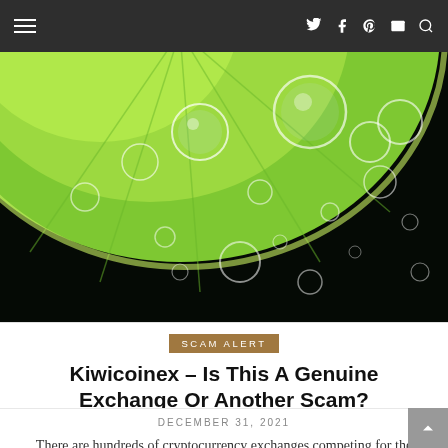Navigation bar with hamburger menu and social icons (Twitter, Facebook, Pinterest, Mail, Search)
[Figure (photo): Close-up macro photo of a lime slice submerged in water with bubbles on a dark background]
SCAM ALERT
Kiwicoinex – Is This A Genuine Exchange Or Another Scam?
DECEMBER 31, 2021
There are hundreds of cryptocurrency exchanges competing for the investment of users. This could create uncertainties in terms of which ones to make trades with....